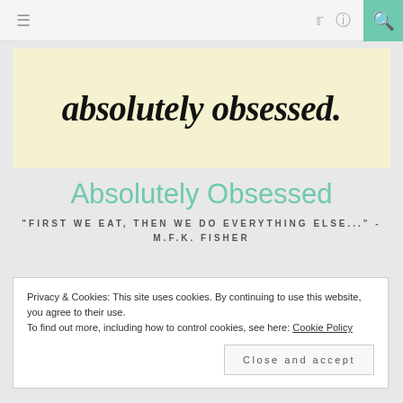≡  [twitter icon]  [instagram icon]  [search]
[Figure (illustration): Blog banner image with cream/yellow background showing the cursive italic text 'absolutely obsessed.' in large black script font]
Absolutely Obsessed
"FIRST WE EAT, THEN WE DO EVERYTHING ELSE..." - M.F.K. FISHER
Privacy & Cookies: This site uses cookies. By continuing to use this website, you agree to their use.
To find out more, including how to control cookies, see here: Cookie Policy
Close and accept